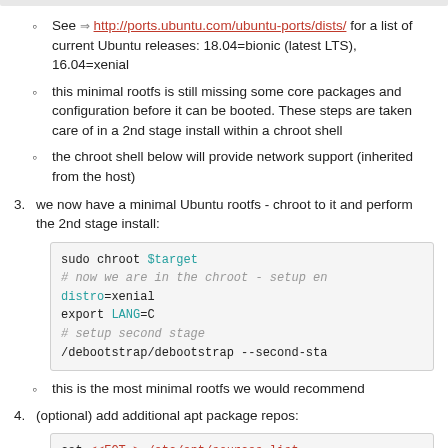See http://ports.ubuntu.com/ubuntu-ports/dists/ for a list of current Ubuntu releases: 18.04=bionic (latest LTS), 16.04=xenial
this minimal rootfs is still missing some core packages and configuration before it can be booted. These steps are taken care of in a 2nd stage install within a chroot shell
the chroot shell below will provide network support (inherited from the host)
3. we now have a minimal Ubuntu rootfs - chroot to it and perform the 2nd stage install:
[Figure (screenshot): Code block showing: sudo chroot $target, # now we are in the chroot - setup en, distro=xenial, export LANG=C, # setup second stage, /debootstrap/debootstrap --second-sta]
this is the most minimal rootfs we would recommend
4. (optional) add additional apt package repos:
[Figure (screenshot): Code block showing: cat <<EOT > /etc/apt/sources.list, deb http://ports.ubuntu.com/ubuntu-po, deb http://ports.ubuntu.com/ubuntu-po, deb http://ports.ubuntu.com/ubuntu-po, EOT]